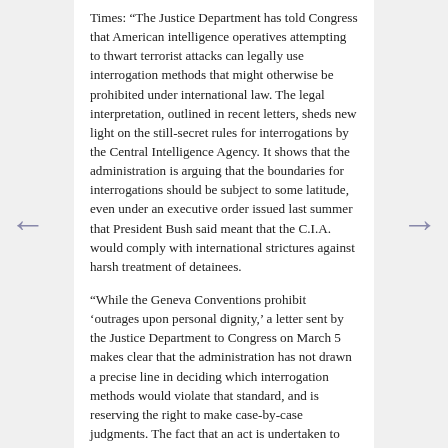Times: "The Justice Department has told Congress that American intelligence operatives attempting to thwart terrorist attacks can legally use interrogation methods that might otherwise be prohibited under international law. The legal interpretation, outlined in recent letters, sheds new light on the still-secret rules for interrogations by the Central Intelligence Agency. It shows that the administration is arguing that the boundaries for interrogations should be subject to some latitude, even under an executive order issued last summer that President Bush said meant that the C.I.A. would comply with international strictures against harsh treatment of detainees.
"While the Geneva Conventions prohibit 'outrages upon personal dignity,' a letter sent by the Justice Department to Congress on March 5 makes clear that the administration has not drawn a precise line in deciding which interrogation methods would violate that standard, and is reserving the right to make case-by-case judgments. The fact that an act is undertaken to prevent a threatened terrorist attack, rather than for the purpose of humiliation or abuse, would be relevant to a reasonable observer in measuring the outrageousness of the act,' said Brian A. Benczkowski, a deputy assistant attorney general, in the letter, which had not previously been made public. . . . Some legal experts critical of the Justice Department interpretation said the department seemed to